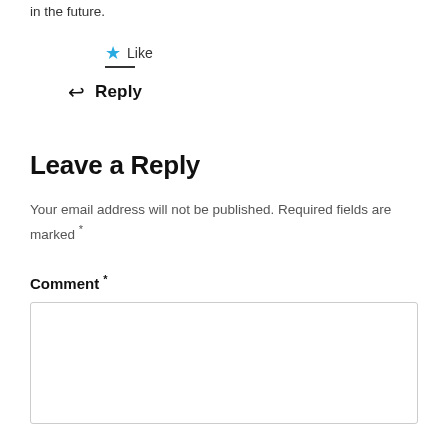in the future.
★ Like
↩ Reply
Leave a Reply
Your email address will not be published. Required fields are marked *
Comment *
[Figure (other): Empty comment text area input box]